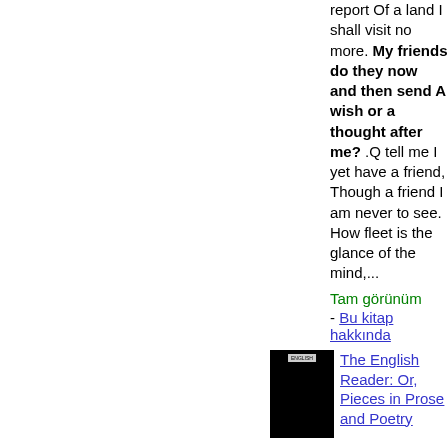report Of a land I shall visit no more. My friends do they now and then send A wish or a thought after me? .Q tell me I yet have a friend, Though a friend I am never to see. How fleet is the glance of the mind,...
Tam görünüm
- Bu kitap hakkında
[Figure (photo): Black book cover with small label at top]
The English Reader: Or, Pieces in Prose and Poetry